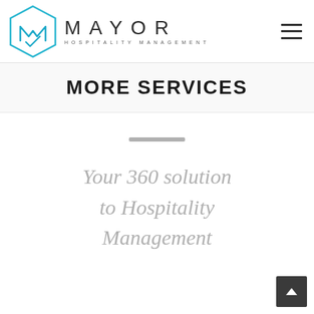[Figure (logo): Mayor Hospitality Management logo: hexagonal geometric icon in blue with stylized M inside, next to 'MAYOR' large spaced text and 'HOSPITALITY MANAGEMENT' small spaced text below]
MORE SERVICES
[Figure (other): Gray horizontal divider bar]
Your 360 solution to Hospitality Management